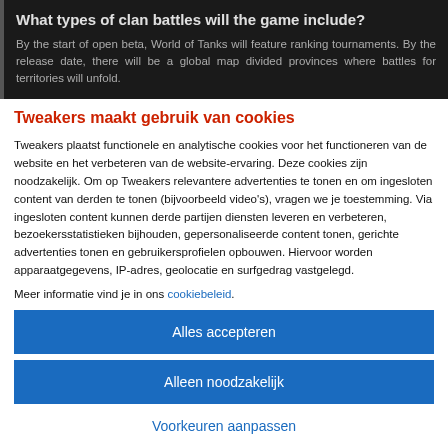[Figure (screenshot): Dark background banner with question heading and answer text about World of Tanks clan battles]
Tweakers maakt gebruik van cookies
Tweakers plaatst functionele en analytische cookies voor het functioneren van de website en het verbeteren van de website-ervaring. Deze cookies zijn noodzakelijk. Om op Tweakers relevantere advertenties te tonen en om ingesloten content van derden te tonen (bijvoorbeeld video's), vragen we je toestemming. Via ingesloten content kunnen derde partijen diensten leveren en verbeteren, bezoekersstatistieken bijhouden, gepersonaliseerde content tonen, gerichte advertenties tonen en gebruikersprofielen opbouwen. Hiervoor worden apparaatgegevens, IP-adres, geolocatie en surfgedrag vastgelegd.
Meer informatie vind je in ons cookiebeleid.
Alles accepteren
Alleen noodzakelijk
Voorkeuren aanpassen